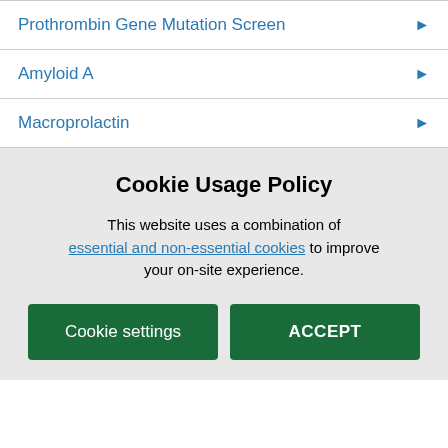Prothrombin Gene Mutation Screen
Amyloid A
Macroprolactin
Cookie Usage Policy
This website uses a combination of essential and non-essential cookies to improve your on-site experience.
Cookie settings
ACCEPT